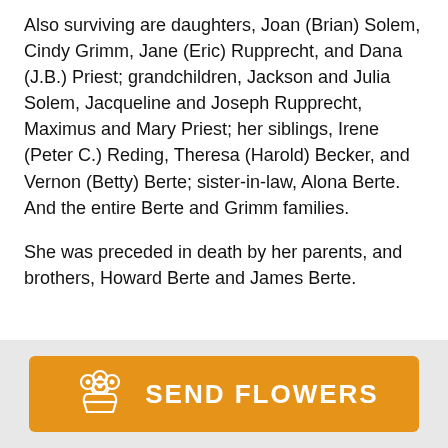Also surviving are daughters, Joan (Brian) Solem, Cindy Grimm, Jane (Eric) Rupprecht, and Dana (J.B.) Priest; grandchildren, Jackson and Julia Solem, Jacqueline and Joseph Rupprecht, Maximus and Mary Priest; her siblings, Irene (Peter C.) Reding, Theresa (Harold) Becker, and Vernon (Betty) Berte; sister-in-law, Alona Berte. And the entire Berte and Grimm families.
She was preceded in death by her parents, and brothers, Howard Berte and James Berte.
[Figure (illustration): Orange 'Send Flowers' button with a white bouquet/flower icon on the left and bold white uppercase text 'SEND FLOWERS' on the right]